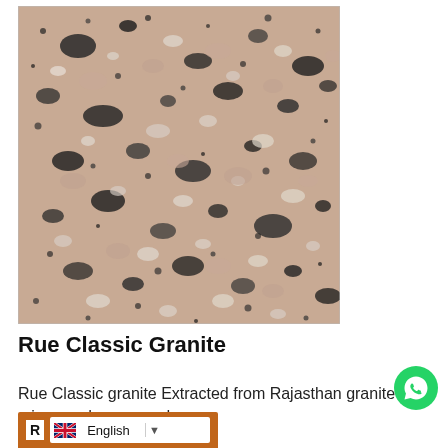[Figure (photo): Close-up photograph of Rue Classic Granite showing a pinkish-beige stone surface with dark black and grey mineral speckles and crystal patterns throughout, typical of granite stone texture.]
Rue Classic Granite
Rue Classic granite Extracted from Rajasthan granite mines and processed …
[Figure (other): WhatsApp contact button — green circle with white phone/chat icon]
R  English  ▼